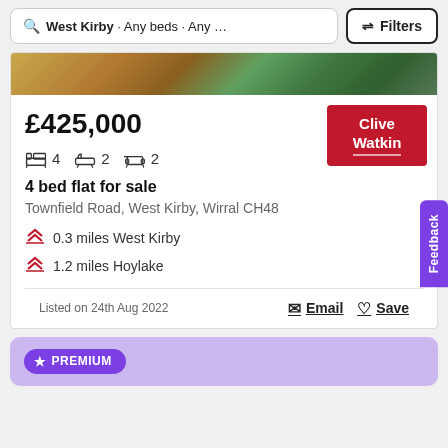West Kirby · Any beds · Any … | Filters
[Figure (photo): Partial property exterior photo showing building facade with greenery]
£425,000
[Figure (logo): Clive Watkin estate agent logo in red]
4  2  2
4 bed flat for sale
Townfield Road, West Kirby, Wirral CH48
0.3 miles West Kirby
1.2 miles Hoylake
Listed on 24th Aug 2022
Email  Save
PREMIUM